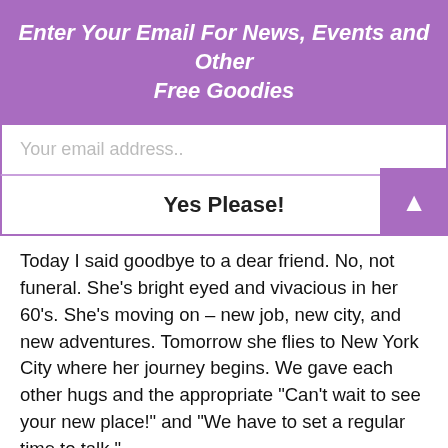Enter Your Email For News, Events and Other Free Goodies
Your email address..
Yes Please!
Today I said goodbye to a dear friend. No, not funeral. She’s bright eyed and vivacious in her 60’s. She’s moving on – new job, new city, and new adventures. Tomorrow she flies to New York City where her journey begins. We gave each other hugs and the appropriate “Can’t wait to see your new place!” and “We have to set a regular time to talk.”
Truth told, I don’t know when I’ll see her again. I do know I’ll miss her terribly. I could feel the hole that her absence would leave. I told myself, “Be